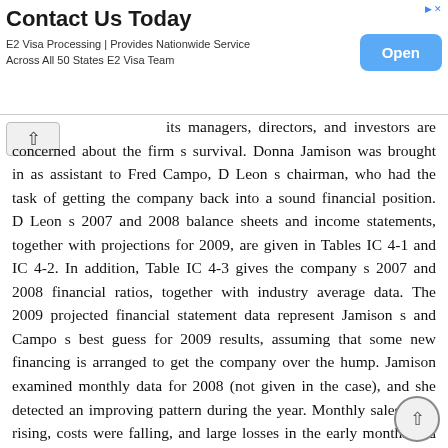[Figure (other): Advertisement banner: Contact Us Today - E2 Visa Processing | Provides Nationwide Service Across All 50 States E2 Visa Team, with an Open button]
its managers, directors, and investors are concerned about the firm s survival. Donna Jamison was brought in as assistant to Fred Campo, D Leon s chairman, who had the task of getting the company back into a sound financial position. D Leon s 2007 and 2008 balance sheets and income statements, together with projections for 2009, are given in Tables IC 4-1 and IC 4-2. In addition, Table IC 4-3 gives the company s 2007 and 2008 financial ratios, together with industry average data. The 2009 projected financial statement data represent Jamison s and Campo s best guess for 2009 results, assuming that some new financing is arranged to get the company over the hump. Jamison examined monthly data for 2008 (not given in the case), and she detected an improving pattern during the year. Monthly sales were rising, costs were falling, and large losses in the early months had turned to a small profit by December. Thus, the annual data look somewhat worse than final monthly data. Also, it appears